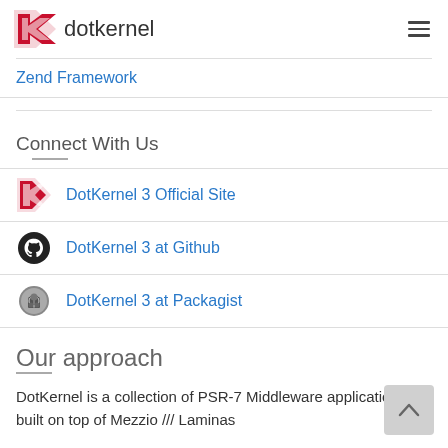dotkernel
Zend Framework
Connect With Us
DotKernel 3 Official Site
DotKernel 3 at Github
DotKernel 3 at Packagist
Our approach
DotKernel is a collection of PSR-7 Middleware applications built on top of Mezzio /// Laminas